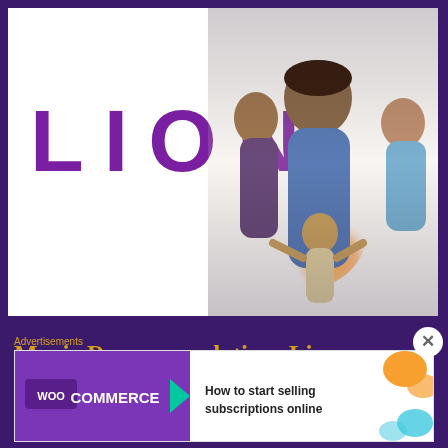[Figure (photo): Movie poster for the film 'Lion' showing the LION title text in purple on white background, with several actors/characters visible on the right side of the poster]
Movie Recommendation: Lion
Have you ever lost anything that has been very close to your heart? So close that losing it never let … More
Advertisements
[Figure (screenshot): WooCommerce advertisement banner: 'How to start selling subscriptions online' with WooCommerce logo and decorative orange/teal shapes]